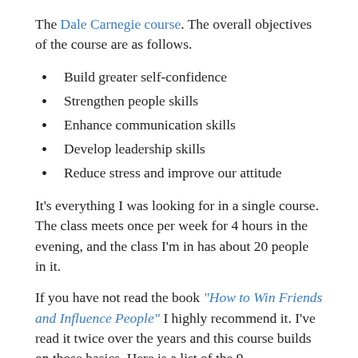The Dale Carnegie course. The overall objectives of the course are as follows.
Build greater self-confidence
Strengthen people skills
Enhance communication skills
Develop leadership skills
Reduce stress and improve our attitude
It's everything I was looking for in a single course. The class meets once per week for 4 hours in the evening, and the class I'm in has about 20 people in it.
If you have not read the book "How to Win Friends and Influence People" I highly recommend it. I've read it twice over the years and this course builds on those basics. Here is a list of the 9